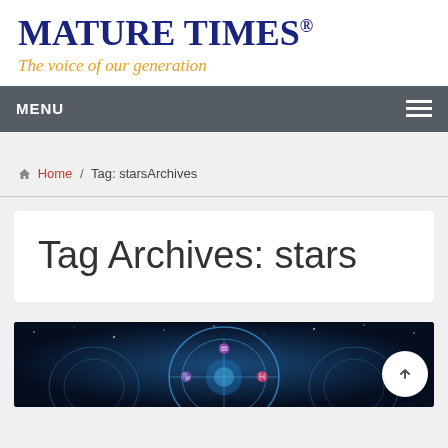MATURE TIMES® The voice of our generation
MENU
🏠 Home / Tag: starsArchives
Tag Archives: stars
[Figure (photo): Dark blue/navy background with glowing blue astrological/zodiac symbols and circular designs, resembling a cosmic or astrology-themed illustration.]